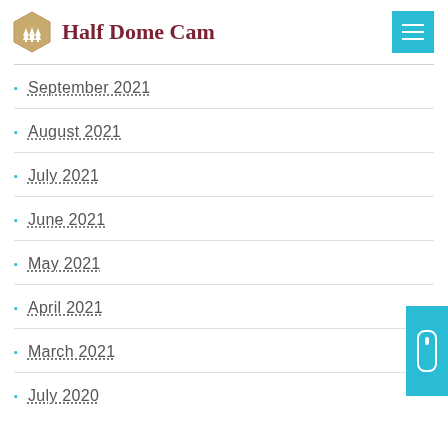Half Dome Cam
September 2021
August 2021
July 2021
June 2021
May 2021
April 2021
March 2021
July 2020